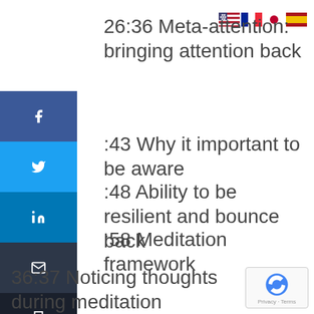[Figure (other): Row of four country flags: US, France, Japan, Spain]
[Figure (other): Social sharing sidebar with Facebook, Twitter, LinkedIn, Email, and Print buttons]
26:36 Meta-attention: bringing attention back
:43 Why it important to be aware
:48 Ability to be resilient and bounce back
:58 Meditation framework
36:37 Noticing thoughts during meditation
[Figure (other): Google reCAPTCHA badge with Privacy and Terms links]